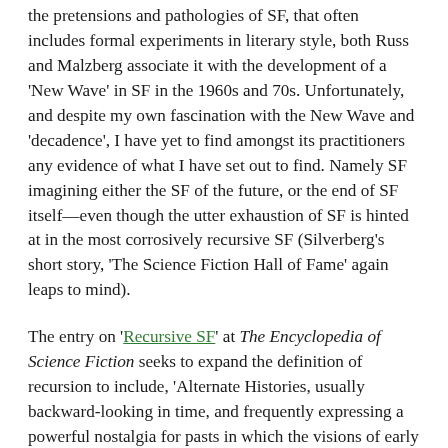the pretensions and pathologies of SF, that often includes formal experiments in literary style, both Russ and Malzberg associate it with the development of a 'New Wave' in SF in the 1960s and 70s. Unfortunately, and despite my own fascination with the New Wave and 'decadence', I have yet to find amongst its practitioners any evidence of what I have set out to find. Namely SF imagining either the SF of the future, or the end of SF itself—even though the utter exhaustion of SF is hinted at in the most corrosively recursive SF (Silverberg's short story, 'The Science Fiction Hall of Fame' again leaps to mind).
The entry on 'Recursive SF' at The Encyclopedia of Science Fiction seeks to expand the definition of recursion to include, 'Alternate Histories, usually backward-looking in time, and frequently expressing a powerful nostalgia for pasts in which the visions of early Genre SF do, in fact, come true.' [5] This is almost an answer to my question. Unfortunately, I am not looking for a 'backward-looking', retrospective vision of the future of SF, no matter how attractive such decadent